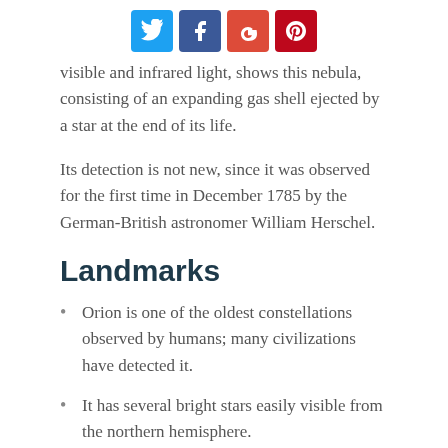[Social share buttons: Twitter, Facebook, Google+, Pinterest]
visible and infrared light, shows this nebula, consisting of an expanding gas shell ejected by a star at the end of its life.
Its detection is not new, since it was observed for the first time in December 1785 by the German-British astronomer William Herschel.
Landmarks
Orion is one of the oldest constellations observed by humans; many civilizations have detected it.
It has several bright stars easily visible from the northern hemisphere.